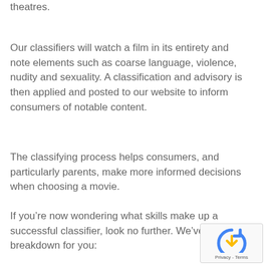theatres.
Our classifiers will watch a film in its entirety and note elements such as coarse language, violence, nudity and sexuality. A classification and advisory is then applied and posted to our website to inform consumers of notable content.
The classifying process helps consumers, and particularly parents, make more informed decisions when choosing a movie.
If you’re now wondering what skills make up a successful classifier, look no further. We’ve got a breakdown for you:
[Figure (logo): Google reCAPTCHA badge with arrow icon and Privacy - Terms text]